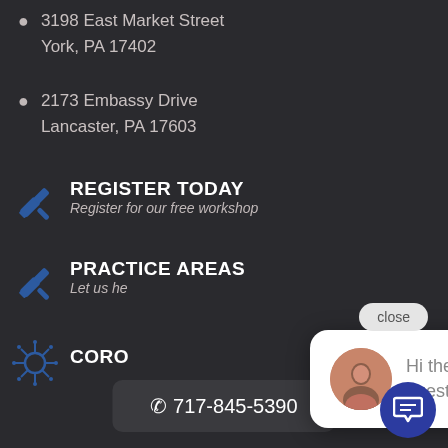3198 East Market Street
York, PA 17402
2173 Embassy Drive
Lancaster, PA 17603
REGISTER TODAY
Register for our free workshop
PRACTICE AREAS
Let us he[lp]
CORO[NAVIRUS]
Hi there, have a question? Text us here.
717-845-5390